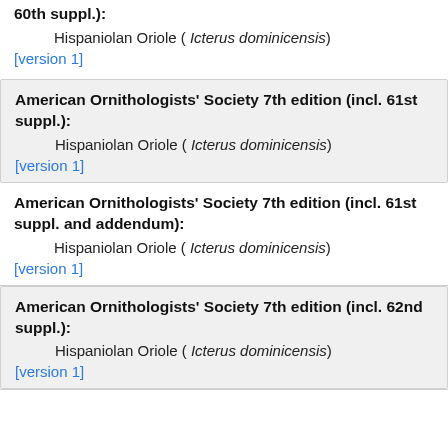60th suppl.):
Hispaniolan Oriole ( Icterus dominicensis)
[version 1]
American Ornithologists' Society 7th edition (incl. 61st suppl.):
Hispaniolan Oriole ( Icterus dominicensis)
[version 1]
American Ornithologists' Society 7th edition (incl. 61st suppl. and addendum):
Hispaniolan Oriole ( Icterus dominicensis)
[version 1]
American Ornithologists' Society 7th edition (incl. 62nd suppl.):
Hispaniolan Oriole ( Icterus dominicensis)
[version 1]